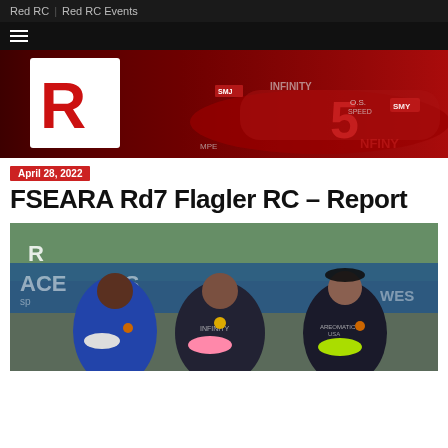Red RC | Red RC Events
[Figure (photo): Red RC logo overlaid on a red RC racing car banner image]
April 28, 2022
FSEARA Rd7 Flagler RC – Report
[Figure (photo): Three men posing on a podium holding RC cars, wearing medals, in front of a racing banner]